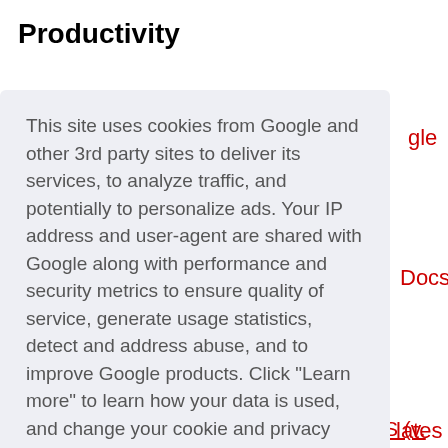Productivity
This site uses cookies from Google and other 3rd party sites to deliver its services, to analyze traffic, and potentially to personalize ads. Your IP address and user-agent are shared with Google along with performance and security metrics to ensure quality of service, generate usage statistics, detect and address abuse, and to improve Google products. Click "Learn more" to learn how your data is used, and change your cookie and privacy settings. By using this site, you agree to its use of cookies and other data.
Learn more
Got it!
Stable Channel Update for Chrome OS (v.